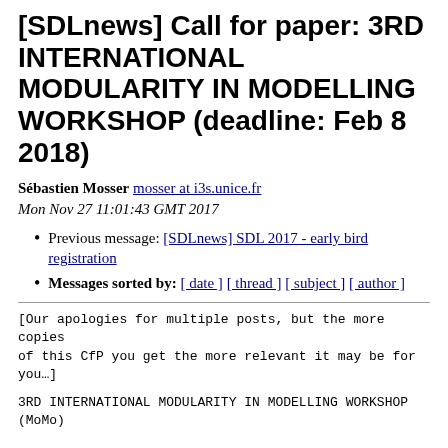[SDLnews] Call for paper: 3RD INTERNATIONAL MODULARITY IN MODELLING WORKSHOP (deadline: Feb 8 2018)
Sébastien Mosser mosser at i3s.unice.fr
Mon Nov 27 11:01:43 GMT 2017
Previous message: [SDLnews] SDL 2017 - early bird registration
Messages sorted by: [ date ] [ thread ] [ subject ] [ author ]
[Our apologies for multiple posts, but the more copies of this CfP you get the more relevant it may be for you…]
3RD INTERNATIONAL MODULARITY IN MODELLING WORKSHOP
(MoMo)